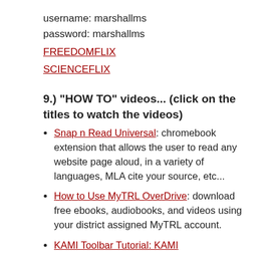username: marshallms
password: marshallms
FREEDOMFLIX
SCIENCEFLIX
9.)  "HOW TO" videos... (click on the titles to watch the videos)
Snap n Read Universal: chromebook extension that allows the user to read any website page aloud, in a variety of languages, MLA cite your source, etc...
How to Use MyTRL OverDrive: download free ebooks, audiobooks, and videos using your district assigned MyTRL account.
KAMI Toolbar Tutorial: KAMI...